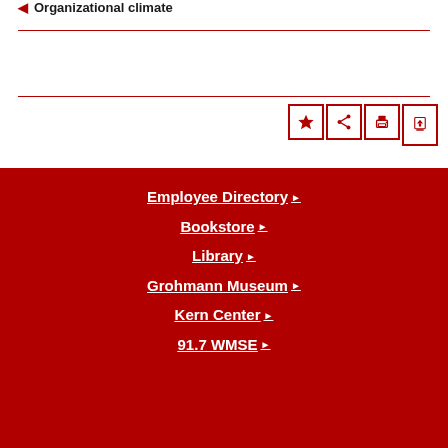Organizational climate
[Figure (other): Four icon buttons: star (favorite), share, print, and upload/scroll-to-top, arranged horizontally in red bordered boxes]
Employee Directory ▶
Bookstore ▶
Library ▶
Grohmann Museum ▶
Kern Center ▶
91.7 WMSE ▶